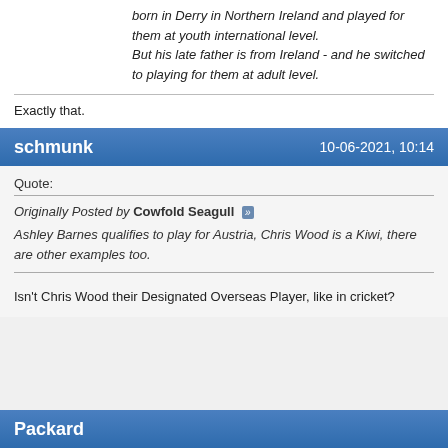born in Derry in Northern Ireland and played for them at youth international level.
But his late father is from Ireland - and he switched to playing for them at adult level.
Exactly that.
schmunk   10-06-2021, 10:14
Quote:
Originally Posted by Cowfold Seagull
Ashley Barnes qualifies to play for Austria, Chris Wood is a Kiwi, there are other examples too.
Isn't Chris Wood their Designated Overseas Player, like in cricket?
Packard